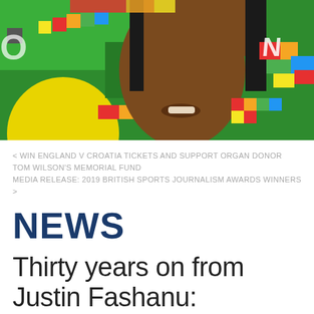[Figure (illustration): Colorful illustrated portrait of Justin Fashanu in vibrant green, yellow, red, blue, and orange tones with bold graphic art style]
< WIN ENGLAND V CROATIA TICKETS AND SUPPORT ORGAN DONOR TOM WILSON'S MEMORIAL FUND
MEDIA RELEASE: 2019 BRITISH SPORTS JOURNALISM AWARDS WINNERS >
NEWS
Thirty years on from Justin Fashanu: Reporting LGBT+